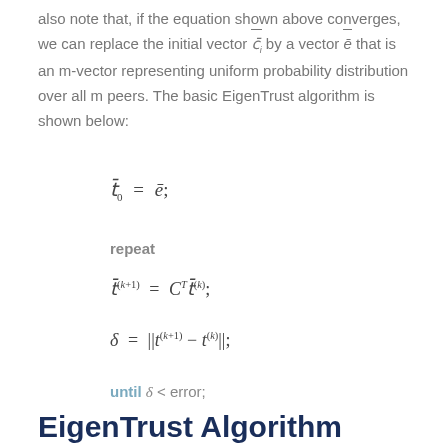also note that, if the equation shown above converges, we can replace the initial vector c̄_i by a vector ē that is an m-vector representing uniform probability distribution over all m peers. The basic EigenTrust algorithm is shown below:
repeat
until δ < error;
EigenTrust Algorithm Questions